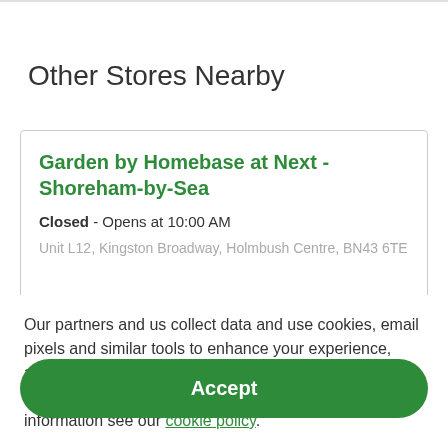Other Stores Nearby
Garden by Homebase at Next - Shoreham-by-Sea
Closed - Opens at 10:00 AM
Unit L12, Kingston Broadway, Holmbush Centre, BN43 6TE
Our partners and us collect data and use cookies, email pixels and similar tools to enhance your experience, analyse traffic and for ad personalisation and measurement. One such partner is Google. For more information see our cookie policy.
Accept